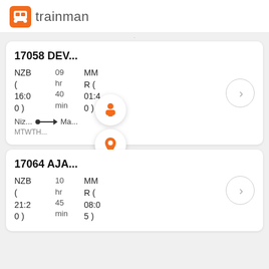[Figure (logo): Trainman app logo: orange square with train icon and 'trainman' text in grey]
17058 DEV...
NZB ( 16:0 0 )  09 hr 40 min  MM R ( 01:4 0 )
Niz... Ma...
MTWTH...
17064 AJA...
NZB ( 21:2 0 )  10 hr 45 min  MM R ( 08:0 5 )